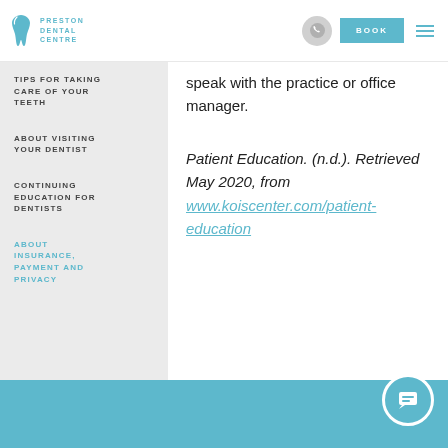[Figure (logo): Preston Dental Centre logo with teal tooth icon and text]
speak with the practice or office manager.
TIPS FOR TAKING CARE OF YOUR TEETH
ABOUT VISITING YOUR DENTIST
CONTINUING EDUCATION FOR DENTISTS
ABOUT INSURANCE, PAYMENT AND PRIVACY
Patient Education. (n.d.). Retrieved May 2020, from www.koiscenter.com/patient-education